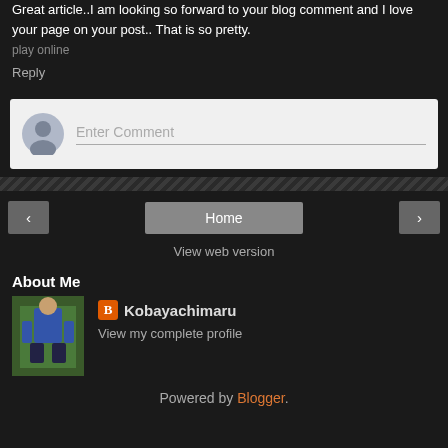Great article..I am looking so forward to your blog comment and I love your page on your post.. That is so pretty.
play online
Reply
[Figure (other): Comment input box with avatar icon and placeholder text 'Enter Comment']
[Figure (other): Navigation bar with left arrow button, Home button, and right arrow button]
View web version
About Me
[Figure (photo): Profile photo of Kobayachimaru - a miniature figure painted as a small person in blue armor on a grassy base]
Kobayachimaru
View my complete profile
Powered by Blogger.